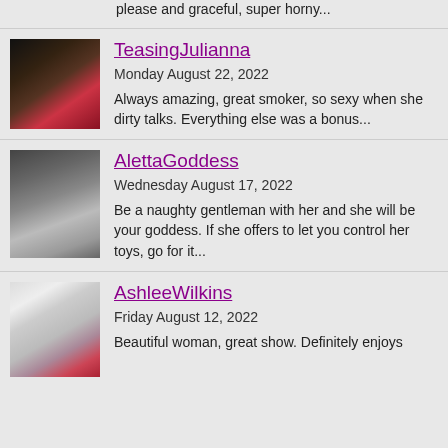please and graceful, super horny...
TeasingJulianna
Monday August 22, 2022
Always amazing, great smoker, so sexy when she dirty talks. Everything else was a bonus...
AlettaGoddess
Wednesday August 17, 2022
Be a naughty gentleman with her and she will be your goddess. If she offers to let you control her toys, go for it...
AshleeWilkins
Friday August 12, 2022
Beautiful woman, great show. Definitely enjoys...